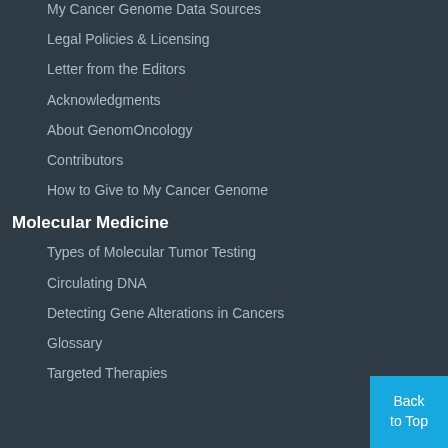My Cancer Genome Data Sources
Legal Policies & Licensing
Letter from the Editors
Acknowledgments
About GenomOncology
Contributors
How to Give to My Cancer Genome
Molecular Medicine
Types of Molecular Tumor Testing
Circulating DNA
Detecting Gene Alterations in Cancers
Glossary
Targeted Therapies